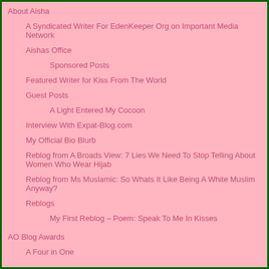About Aisha
A Syndicated Writer For EdenKeeper Org on Important Media Network
Aishas Office
Sponsored Posts
Featured Writer for Kiss From The World
Guest Posts
A Light Entered My Cocoon
Interview With Expat-Blog.com
My Official Bio Blurb
Reblog from A Broads View: 7 Lies We Need To Stop Telling About Women Who Wear Hijab
Reblog from Ms Muslamic: So Whats It Like Being A White Muslim Anyway?
Reblogs
My First Reblog – Poem: Speak To Me In Kisses
AO Blog Awards
A Four in One